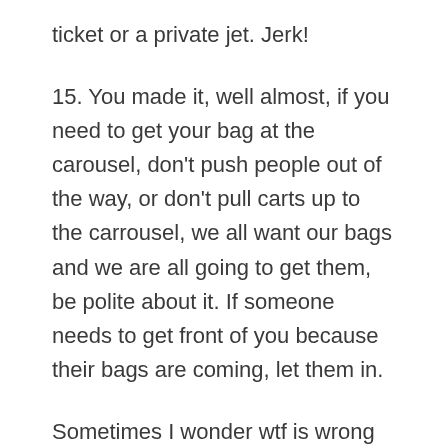ticket or a private jet. Jerk!
15. You made it, well almost, if you need to get your bag at the carousel, don't push people out of the way, or don't pull carts up to the carrousel, we all want our bags and we are all going to get them, be polite about it. If someone needs to get front of you because their bags are coming, let them in.
Sometimes I wonder wtf is wrong with